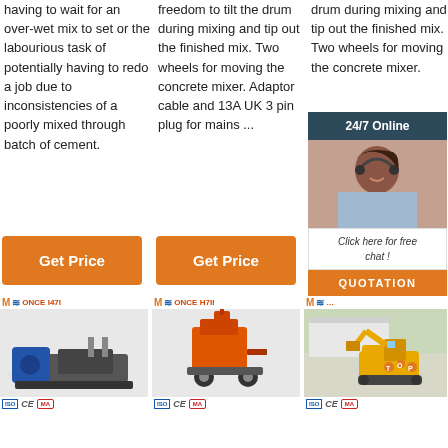having to wait for an over-wet mix to set or the labourious task of potentially having to redo a job due to inconsistencies of a poorly mixed through batch of cement.
freedom to tilt the drum during mixing and tip out the finished mix. Two wheels for moving the concrete mixer. Adaptor cable and 13A UK 3 pin plug for mains ...
drum during mixing and tip out the finished mix. Two wheels for moving the concrete mixer.
[Figure (infographic): 24/7 Online chat widget with a woman wearing a headset, dark teal header, and QUOTATION button]
Get Price
Get Price
G
[Figure (photo): Industrial pump machine on a platform, blue motor, black frame]
[Figure (photo): Orange industrial plastering/spraying machine on wheels]
[Figure (photo): Yellow mini excavator with TOP branding in orange dots]